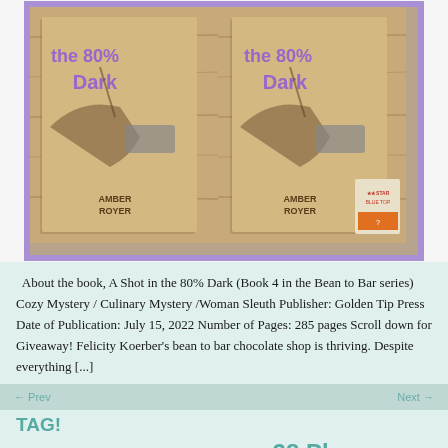[Figure (illustration): Book cover image showing 'A Shot in the 80% Dark' by Amber Royer, displayed twice side by side with a purple border. The covers show illustrated hands holding a gun and a lantern against a wooden/vintage background. A small Texas Book Festival logo is visible at bottom right.]
About the book, A Shot in the 80% Dark (Book 4 in the Bean to Bar series) Cozy Mystery / Culinary Mystery /Woman Sleuth Publisher: Golden Tip Press Date of Publication: July 15, 2022 Number of Pages: 285 pages Scroll down for Giveaway! Felicity Koerber's bean to bar chocolate shop is thriving. Despite everything [...]
TAG!
28 Plays 2018 28 Plays 2019 28 plays 2020 28 Plays Later 29 plays later 100 Words All Things Girl ATG Basil and Zoe